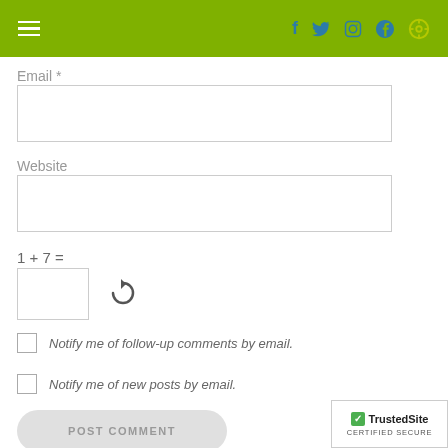Name *
[Figure (screenshot): Green navigation bar with hamburger menu on left, social media icons (Facebook, Twitter, Instagram, Pinterest) and search icon on right]
Email *
Website
Notify me of follow-up comments by email.
Notify me of new posts by email.
POST COMMENT
[Figure (logo): TrustedSite CERTIFIED SECURE badge]